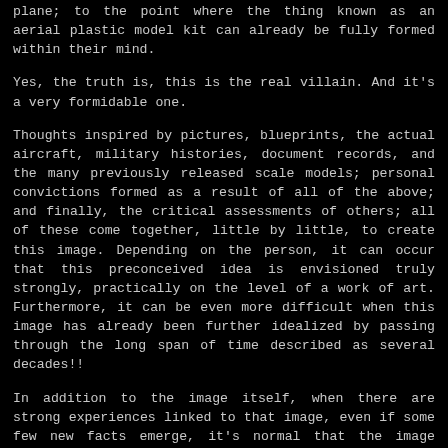plane; to the point where the thing known as an aerial plastic model kit can already be fully formed within their mind.
Yes, the truth is, this is the real villain. And it's a very formidable one.
Thoughts inspired by pictures, blueprints, the actual aircraft, military histories, document records, and the many previously released scale models; personal convictions formed as a result of all of the above; and finally, the critical assessments of others; all of these come together, little by little, to create this image. Depending on the person, it can occur that this preconceived idea is envisioned truly strongly, practically on the level of a work of art. Furthermore, it can be even more difficult when this image has already been further idealized by passing through the long span of time described as several decades!!
In addition to the image itself, when there are strong experiences linked to that image, even if some few new facts emerge, it's normal that the image itself does not waver. Rather, that is something to take pride in!